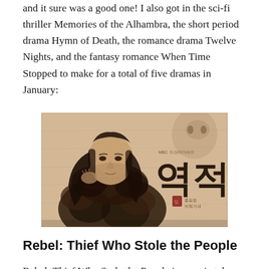and it sure was a good one! I also got in the sci-fi thriller Memories of the Alhambra, the short period drama Hymn of Death, the romance drama Twelve Nights, and the fantasy romance When Time Stopped to make for a total of five dramas in January:
[Figure (photo): Promotional poster image for Korean drama 'Rebel: Thief Who Stole the People' (역적) — sepia-toned illustration of a man with long hair in fur clothing, with Korean calligraphy title and MBC logo on the right side]
Rebel: Thief Who Stole the People
Rebel: Thief Who Stole the People is an epic tale jam-